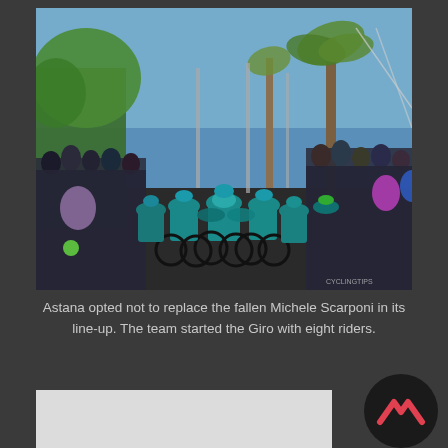[Figure (photo): A group of Astana cycling team riders in teal jerseys and helmets racing through a street lined with cheering spectators. Trees and palm trees visible in background. CYCLINGTIPS watermark in bottom right corner.]
Astana opted not to replace the fallen Michele Scarponi in its line-up. The team started the Giro with eight riders.
[Figure (photo): Bottom portion of page showing a light grey/white rectangular area and a circular logo with a dark background and a red/pink chevron/mountain shape icon — appears to be the CyclingTips logo.]